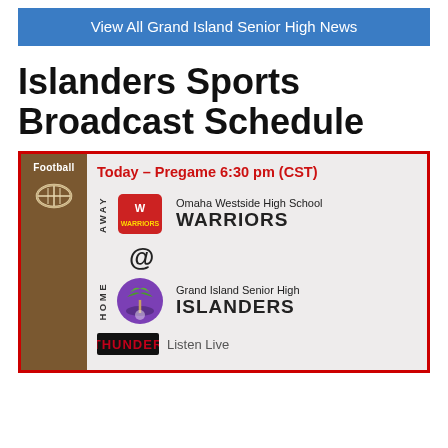View All Grand Island Senior High News
Islanders Sports Broadcast Schedule
[Figure (infographic): Football game schedule card showing: Today – Pregame 6:30 pm (CST). AWAY: Omaha Westside High School WARRIORS (with Warriors logo). @ HOME: Grand Island Senior High ISLANDERS (with Islanders logo). Thunder network logo and Listen Live text at bottom.]